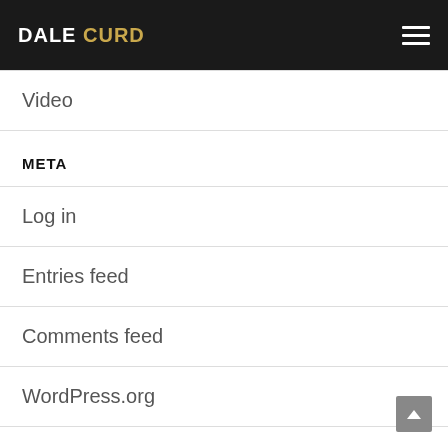DALE CURD
Video
META
Log in
Entries feed
Comments feed
WordPress.org